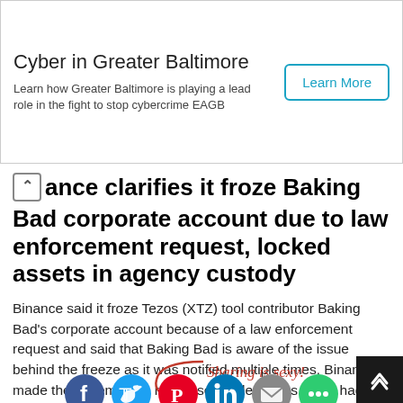[Figure (other): Advertisement banner: 'Cyber in Greater Baltimore' with text 'Learn how Greater Baltimore is playing a lead role in the fight to stop cybercrime EAGB' and a 'Learn More' button]
ance clarifies it froze Baking Bad corporate account due to law enforcement request, locked assets in agency custody
Binance said it froze Tezos (XTZ) tool contributor Baking Bad's corporate account because of a law enforcement request and said that Baking Bad is aware of the issue behind the freeze as it was notified multiple times. Binance made the statement in response to allegations that it had frozen and wiped the account “without any explanations.”...
Sharing is sexy!
[Figure (other): Social sharing icons: Facebook, Twitter, Pinterest, LinkedIn, Email, More Options]
[Figure (photo): Colorful abstract image at bottom of page with blue, purple and red tones]